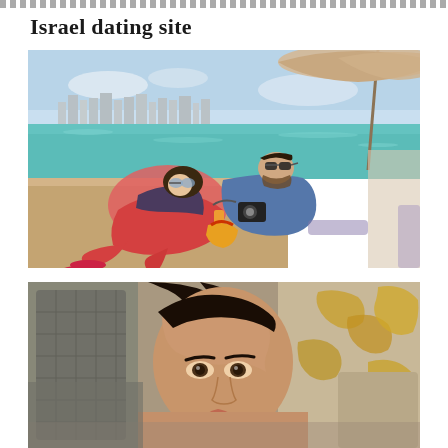Israel dating site
[Figure (photo): A couple sitting at a seaside promenade or pier with a Mediterranean city skyline in the background. The woman wears red leggings and flip flops and holds a drink; the man wears sunglasses and a blue shirt and holds a camera. They are under a beige umbrella.]
[Figure (photo): Close-up portrait of a dark-haired woman with brown eyes looking at the camera. She appears to be seated in a vehicle or carriage interior with ornate golden details visible in the background.]